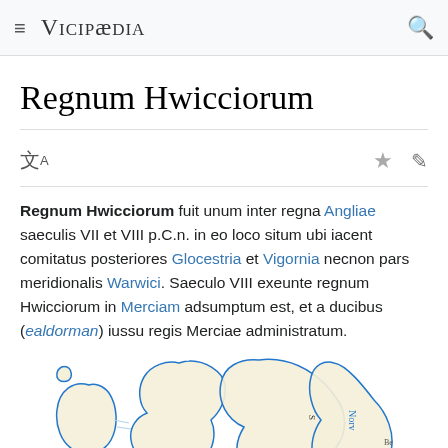Vicipaedia
Regnum Hwicciorum
Regnum Hwicciorum fuit unum inter regna Angliae saeculis VII et VIII p.C.n. in eo loco situm ubi iacent comitatus posteriores Glocestria et Vigornia necnon pars meridionalis Warwici. Saeculo VIII exeunte regnum Hwicciorum in Merciam adsumptum est, et a ducibus (ealdorman) iussu regis Merciae administratum.
[Figure (map): Map of British Isles and northern Europe showing the region of the Hwicce kingdom in yellow/beige, outlined in blue.]